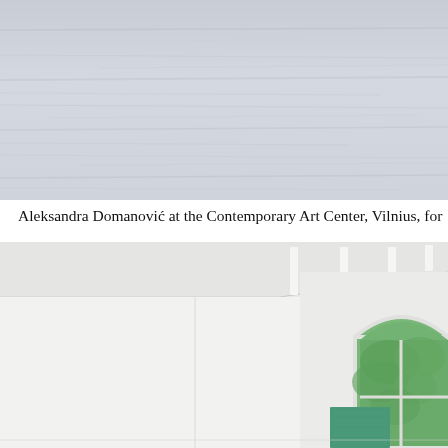[Figure (photo): Top portion of a gallery or exhibition space showing a light gray textured ceiling or wall surface with subtle horizontal streaks.]
Aleksandra Domanović at the Contemporary Art Center, Vilnius, for
[Figure (photo): Interior of a white gallery space with high ceilings, fluorescent strip lighting, an arched window showing green trees outside, and a teal/green rectangular artwork leaning against the lower right wall.]